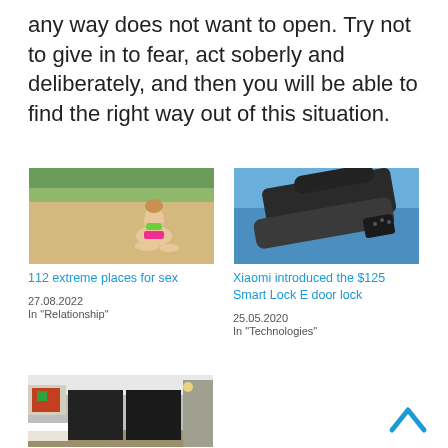any way does not want to open. Try not to give in to fear, act soberly and deliberately, and then you will be able to find the right way out of this situation.
[Figure (photo): Woman in green bikini sitting on a beach]
112 extreme places for sex
27.08.2022
In "Relationship"
[Figure (photo): Xiaomi Smart Lock E door lock product image on blue background]
Xiaomi introduced the $125 Smart Lock E door lock
25.05.2020
In "Technologies"
[Figure (photo): Modern bedroom interior with dark sliding doors]